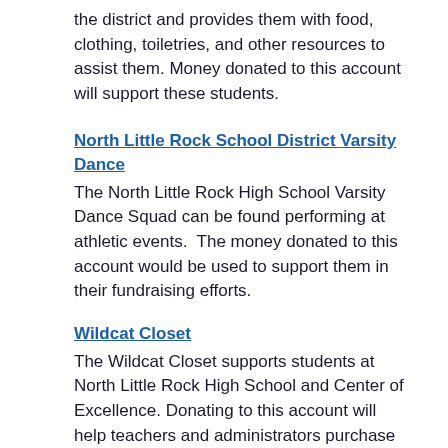the district and provides them with food, clothing, toiletries, and other resources to assist them. Money donated to this account will support these students.
North Little Rock School District Varsity Dance
The North Little Rock High School Varsity Dance Squad can be found performing at athletic events.  The money donated to this account would be used to support them in their fundraising efforts.
Wildcat Closet
The Wildcat Closet supports students at North Little Rock High School and Center of Excellence. Donating to this account will help teachers and administrators purchase clothes and personal hygiene products for students in need.